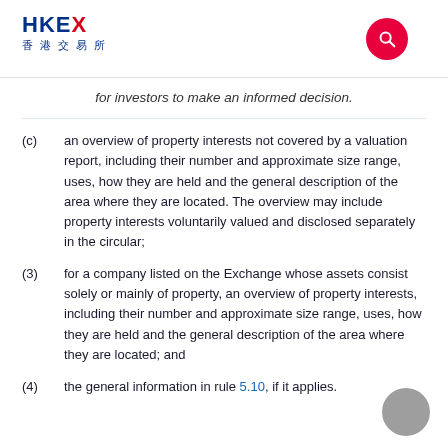HKEX 香港交易所
for investors to make an informed decision.
(c) an overview of property interests not covered by a valuation report, including their number and approximate size range, uses, how they are held and the general description of the area where they are located. The overview may include property interests voluntarily valued and disclosed separately in the circular;
(3) for a company listed on the Exchange whose assets consist solely or mainly of property, an overview of property interests, including their number and approximate size range, uses, how they are held and the general description of the area where they are located; and
(4) the general information in rule 5.10, if it applies.